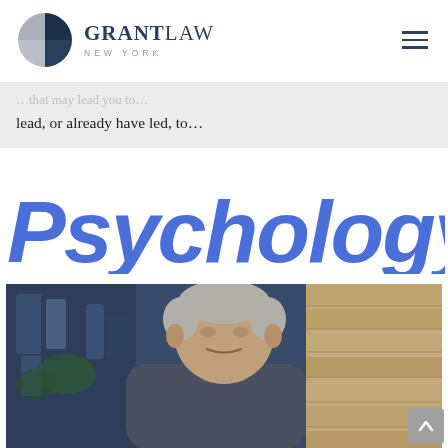[Figure (logo): Grant Law New York logo with circular pie-chart-style icon in dark navy and gray, and text 'GRANT LAW' with 'NEW YORK' below]
lead, or already have led, to…
[Figure (logo): Psychology Today logo in bold blue condensed sans-serif font]
[Figure (photo): Photo of a middle-aged man with gray hair, partially cropped, with a Gothic-style stone building on the left and a stone wall on the right]